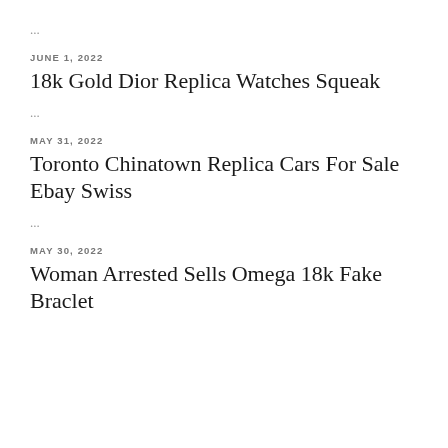...
JUNE 1, 2022
18k Gold Dior Replica Watches Squeak
...
MAY 31, 2022
Toronto Chinatown Replica Cars For Sale Ebay Swiss
...
MAY 30, 2022
Woman Arrested Sells Omega 18k Fake Braclet